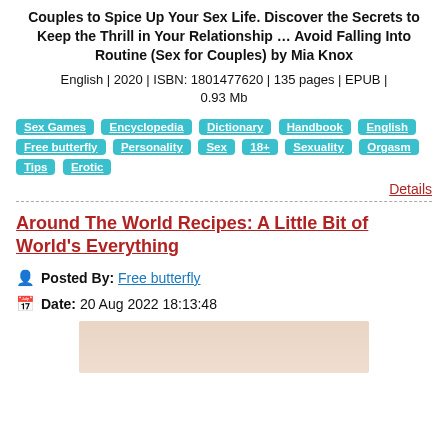Couples to Spice Up Your Sex Life. Discover the Secrets to Keep the Thrill in Your Relationship … Avoid Falling Into Routine (Sex for Couples) by Mia Knox
English | 2020 | ISBN: 1801477620 | 135 pages | EPUB | 0.93 Mb
Sex Games
Encyclopedia
Dictionary
Handbook
English
Free butterfly
Personality
Sex
18+
Sexuality
Orgasm
Tips
Erotic
Details
Around The World Recipes: A Little Bit of World's Everything
Posted By: Free butterfly
Date: 20 Aug 2022 18:13:48
[Figure (photo): Book cover image preview (beige/cream background)]